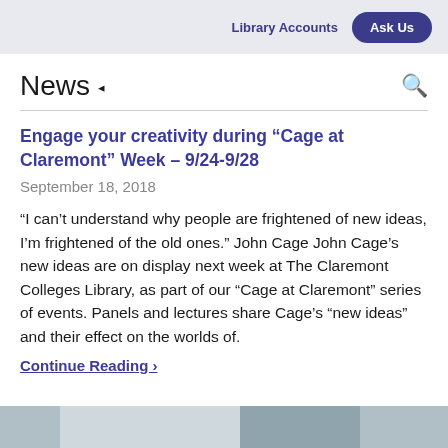Library Accounts   Ask Us
News
Engage your creativity during “Cage at Claremont” Week – 9/24-9/28
September 18, 2018
“I can’t understand why people are frightened of new ideas, I’m frightened of the old ones.” John Cage John Cage’s new ideas are on display next week at The Claremont Colleges Library, as part of our “Cage at Claremont” series of events. Panels and lectures share Cage’s “new ideas” and their effect on the worlds of.
Continue Reading ›
[Figure (photo): Partial photo strip at the bottom of the page, showing a blurred or distant image.]